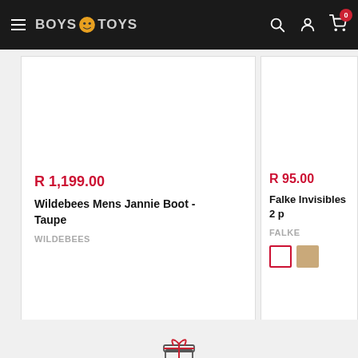Boys N Toys - header with navigation
R 1,199.00
Wildebees Mens Jannie Boot - Taupe
WILDEBEES
R 95.00
Falke Invisibles 2 p
FALKE
[Figure (illustration): Color swatches: white (selected, red border) and tan]
[Figure (illustration): Gift box delivery icon]
Delivery Worldwide